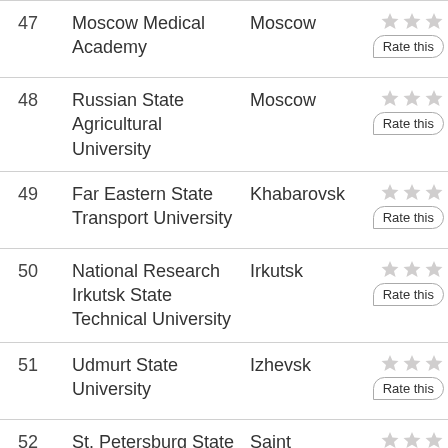47 Moscow Medical Academy — Moscow
48 Russian State Agricultural University — Moscow
49 Far Eastern State Transport University — Khabarovsk
50 National Research Irkutsk State Technical University — Irkutsk
51 Udmurt State University — Izhevsk
52 St. Petersburg State — Saint